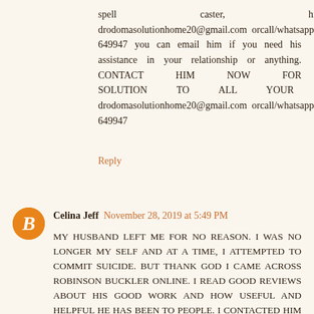spell caster, his email: drodomasolutionhome20@gmail.com orcall/whatsapp:+2348100649947 you can email him if you need his assistance in your relationship or anything. CONTACT HIM NOW FOR SOLUTION TO ALL YOUR PROBLEMS drodomasolutionhome20@gmail.com orcall/whatsapp:+2348100649947
Reply
Celina Jeff November 28, 2019 at 5:49 PM
MY HUSBAND LEFT ME FOR NO REASON. I WAS NO LONGER MY SELF AND AT A TIME, I ATTEMPTED TO COMMIT SUICIDE. BUT THANK GOD I CAME ACROSS ROBINSON BUCKLER ONLINE. I READ GOOD REVIEWS ABOUT HIS GOOD WORK AND HOW USEFUL AND HELPFUL HE HAS BEEN TO PEOPLE. I CONTACTED HIM AND TOLD HIM MY PROBLEM. HE TOLD ME THAT MY MAN WILL COME BACK TO ME. HE TOLD ME WHAT TO DO AND I DID IT AND TO MY GREAT SURPRISE MY HUSBAND CAME BACK JUST AS HE SAID. I EVEN